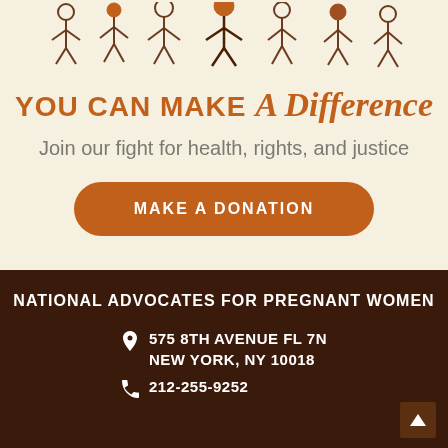[Figure (illustration): Stick figures of diverse people standing together, drawn in a simple cartoon style with brown and orange outlines.]
YOU CAN MAKE A Difference
Join our fight for health, rights, and justice
MAKE A DONATION
NATIONAL ADVOCATES FOR PREGNANT WOMEN
575 8TH AVENUE FL 7N
NEW YORK, NY 10018
212-255-9252